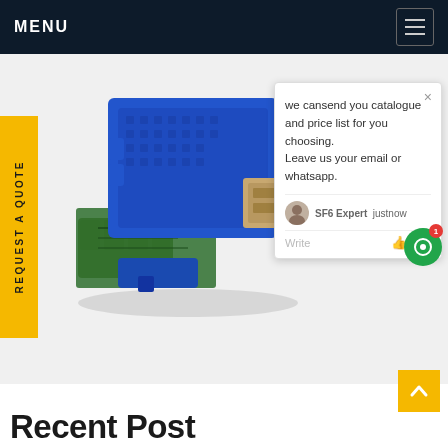MENU
REQUEST A QUOTE
[Figure (photo): Electronic module/relay device with blue plastic housing, green terminal blocks, and circuit board visible — SF6 gas monitoring or control module]
we cansend you catalogue and price list for you choosing.
Leave us your email or whatsapp.
SF6 Expert  justnow
Write
Recent Post